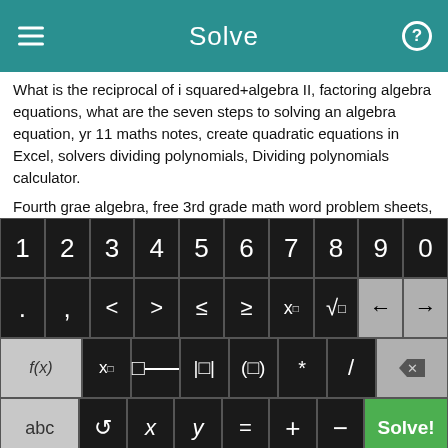Solve
What is the reciprocal of i squared+algebra II, factoring algebra equations, what are the seven steps to solving an algebra equation, yr 11 maths notes, create quadratic equations in Excel, solvers dividing polynomials, Dividing polynomials calculator.
Fourth grae algebra, free 3rd grade math word problem sheets, long division equations 5th grade, integer+jeopardy+lesson plan, glencoe math worksheets "algebra I".
[Figure (screenshot): Math keyboard with numeric keys 1-9,0 on top row; symbols row with period, comma, <, >, ≤, ≥, x^box, sqrt, left arrow, right arrow; function row with f(x), x subscript, fraction, absolute value, parentheses, multiply, divide, backspace; bottom row with abc, rotate, x, y, equals, plus, minus, Solve button]